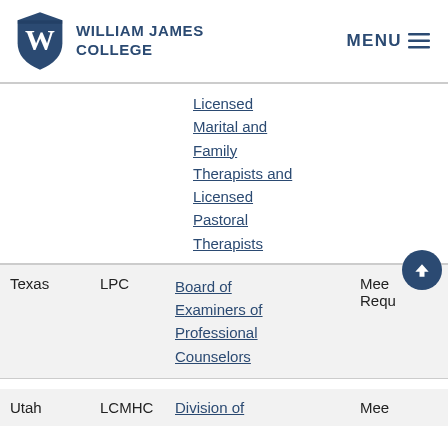William James College | MENU
Licensed Marital and Family Therapists and Licensed Pastoral Therapists
| State | License | Board | Notes |
| --- | --- | --- | --- |
| Texas | LPC | Board of Examiners of Professional Counselors | Mee... Requ... |
| Utah | LCMHC | Division of | Mee... |